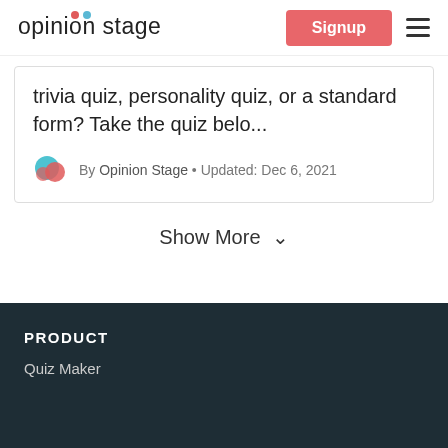opinion stage   Signup ☰
trivia quiz, personality quiz, or a standard form? Take the quiz belo...
By Opinion Stage • Updated: Dec 6, 2021
Show More ˅
PRODUCT
Quiz Maker